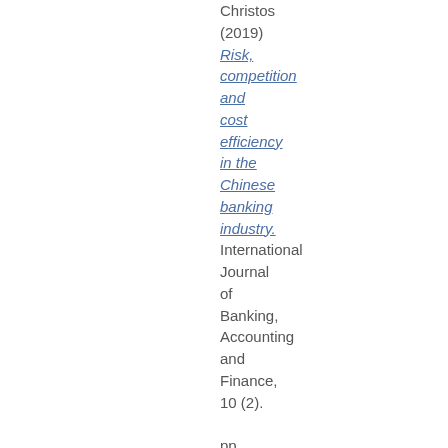Christos (2019) Risk, competition and cost efficiency in the Chinese banking industry. International Journal of Banking, Accounting and Finance, 10 (2). pp. 144